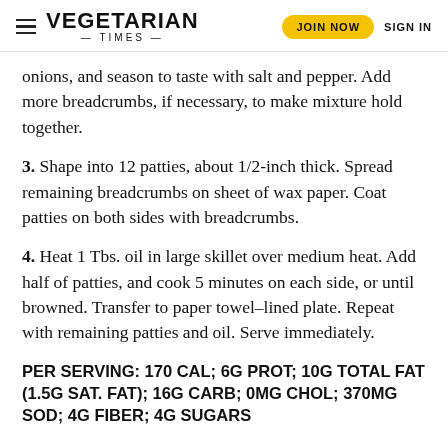VEGETARIAN TIMES | JOIN NOW | SIGN IN
onions, and season to taste with salt and pepper. Add more breadcrumbs, if necessary, to make mixture hold together.
3. Shape into 12 patties, about 1/2-inch thick. Spread remaining breadcrumbs on sheet of wax paper. Coat patties on both sides with breadcrumbs.
4. Heat 1 Tbs. oil in large skillet over medium heat. Add half of patties, and cook 5 minutes on each side, or until browned. Transfer to paper towel–lined plate. Repeat with remaining patties and oil. Serve immediately.
PER SERVING: 170 CAL; 6G PROT; 10G TOTAL FAT (1.5G SAT. FAT); 16G CARB; 0MG CHOL; 370MG SOD; 4G FIBER; 4G SUGARS